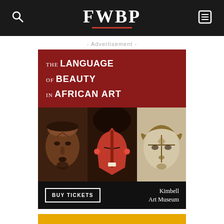FWBP
- Advertisement -
[Figure (illustration): Kimbell Art Museum advertisement: The Language of Beauty in African Art. Red banner at top with title text. Three African masks displayed in center. Bottom black bar with 'BUY TICKETS' button and 'Kimbell Art Museum' text.]
[Figure (illustration): Second advertisement banner in gold/yellow color: 'WHERE OPPORTUNITY BEGINS' with a decorative arrow/swoosh underneath.]